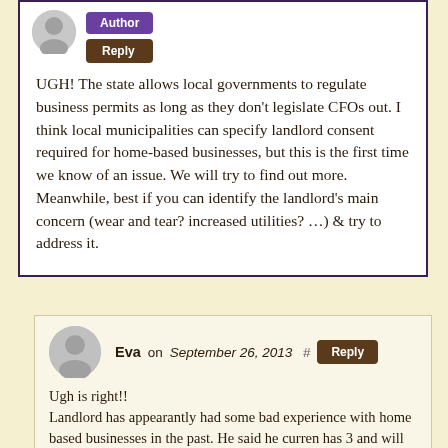[Figure (illustration): Gray circular avatar placeholder with person silhouette icon]
Author
Reply
UGH! The state allows local governments to regulate business permits as long as they don't legislate CFOs out. I think local municipalities can specify landlord consent required for home-based businesses, but this is the first time we know of an issue. We will try to find out more. Meanwhile, best if you can identify the landlord's main concern (wear and tear? increased utilities? …) & try to address it.
[Figure (illustration): Gray circular avatar placeholder with person silhouette icon, nested comment]
Eva on September 26, 2013  #  Reply
Ugh is right!!
Landlord has appearantly had some bad experience with home based businesses in the past. He said he curren has 3 and will no longer allow them. He didnt leave Any room for debate. I thought that I had actually read that the landlord couldn't refuse a CFO but now I can't find that article. I spoke to the